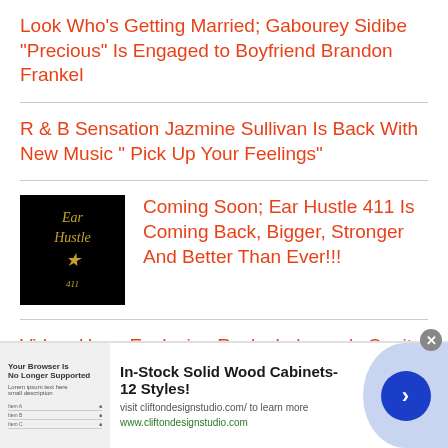Look Who's Getting Married; Gabourey Sidibe “Precious” Is Engaged to Boyfriend Brandon Frankel
R & B Sensation Jazmine Sullivan Is Back With New Music “ Pick Up Your Feelings”
[Figure (logo): Ear Hustle 411 logo on black background with star icon]
Coming Soon; Ear Hustle 411 Is Coming Back, Bigger, Stronger And Better Than Ever!!!
Video: Huge Explosion Rocks Lebanon’s Capital Beirut Killing Many &
[Figure (screenshot): Advertisement for In-Stock Solid Wood Cabinets-12 Styles! with browser screenshot thumbnail, visit cliftondesignstudio.com/ to learn more, www.cliftondesignstudio.com]